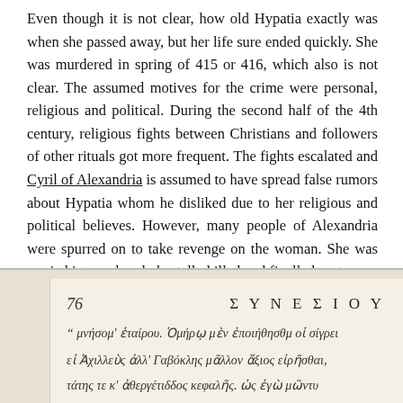Even though it is not clear, how old Hypatia exactly was when she passed away, but her life sure ended quickly. She was murdered in spring of 415 or 416, which also is not clear. The assumed motives for the crime were personal, religious and political. During the second half of the 4th century, religious fights between Christians and followers of other rituals got more frequent. The fights escalated and Cyril of Alexandria is assumed to have spread false rumors about Hypatia whom he disliked due to her religious and political believes. However, many people of Alexandria were spurred on to take revenge on the woman. She was carried into a church, brutally killed and finally burnt.
[Figure (photo): A scanned page of an old manuscript or printed book in Greek, showing page number 76 on the left and the heading ΣΥΝΕΣΙΟΥ on the right, with three lines of Greek italic text below.]